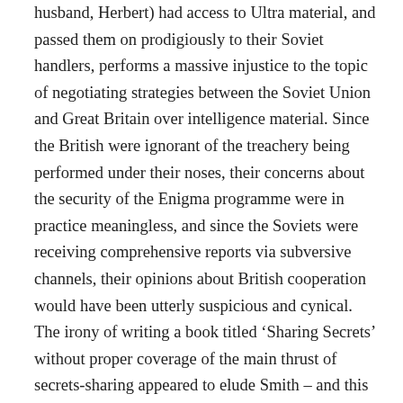husband, Herbert) had access to Ultra material, and passed them on prodigiously to their Soviet handlers, performs a massive injustice to the topic of negotiating strategies between the Soviet Union and Great Britain over intelligence material. Since the British were ignorant of the treachery being performed under their noses, their concerns about the security of the Enigma programme were in practice meaningless, and since the Soviets were receiving comprehensive reports via subversive channels, their opinions about British cooperation would have been utterly suspicious and cynical. The irony of writing a book titled ‘Sharing Secrets’ without proper coverage of the main thrust of secrets-sharing appeared to elude Smith – and this at a time when the secrets betrayed by British and American spies working for the NKVD/NKGB